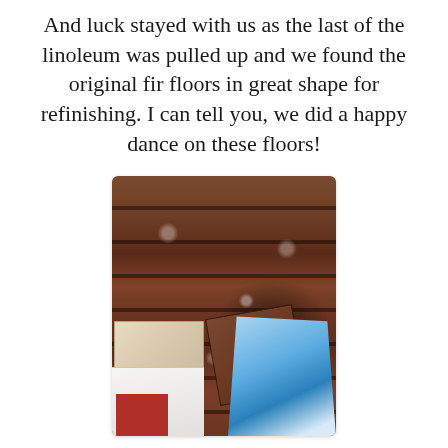And luck stayed with us as the last of the linoleum was pulled up and we found the original fir floors in great shape for refinishing. I can tell you, we did a happy dance on these floors!
[Figure (photo): Photo of original fir wood floor planks revealed under linoleum, with some tiles, a beige tile, white material, red material, and blue plastic bag visible in the foreground.]